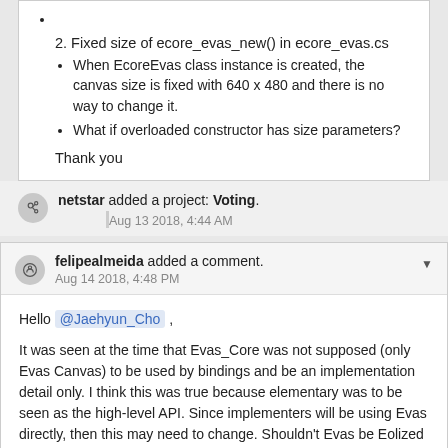(bullet, empty)
2. Fixed size of ecore_evas_new() in ecore_evas.cs
When EcoreEvas class instance is created, the canvas size is fixed with 640 x 480 and there is no way to change it.
What if overloaded constructor has size parameters?
Thank you
netstar added a project: Voting. Aug 13 2018, 4:44 AM
felipealmeida added a comment. Aug 14 2018, 4:48 PM
Hello @Jaehyun_Cho ,
It was seen at the time that Evas_Core was not supposed (only Evas Canvas) to be used by bindings and be an implementation detail only. I think this was true because elementary was to be seen as the high-level API. Since implementers will be using Evas directly, then this may need to change. Shouldn't Evas be Eolized then?